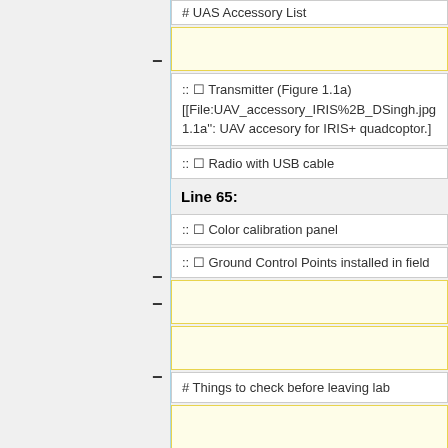# UAS Accessory List
– (yellow highlight box, deleted line)
:: ☐ Transmitter (Figure 1.1a) [[File:UAV_accessory_IRIS%2B_DSingh.jpg 1.1a": UAV accesory for IRIS+ quadcoptor.]
:: ☐ Radio with USB cable
Line 65:
:: ☐ Color calibration panel
:: ☐ Ground Control Points installed in field
– (yellow highlight box, deleted line)
– (yellow highlight box, deleted line)
# Things to check before leaving lab
– (yellow highlight box, deleted line)
:: ☐ An updated version of Mission Planner on the field laptop.
:: ☐ Has the field map been cached in the M